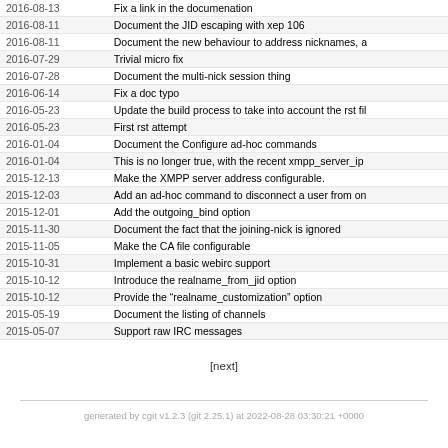| Date | Message |
| --- | --- |
| 2016-08-13 | Fix a link in the documenation |
| 2016-08-11 | Document the JID escaping with xep 106 |
| 2016-08-11 | Document the new behaviour to address nicknames, a |
| 2016-07-29 | Trivial micro fix |
| 2016-07-28 | Document the multi-nick session thing |
| 2016-06-14 | Fix a doc typo |
| 2016-05-23 | Update the build process to take into account the rst fil |
| 2016-05-23 | First rst attempt |
| 2016-01-04 | Document the Configure ad-hoc commands |
| 2016-01-04 | This is no longer true, with the recent xmpp_server_ip |
| 2015-12-13 | Make the XMPP server address configurable. |
| 2015-12-03 | Add an ad-hoc command to disconnect a user from on |
| 2015-12-01 | Add the outgoing_bind option |
| 2015-11-30 | Document the fact that the joining-nick is ignored |
| 2015-11-05 | Make the CA file configurable |
| 2015-10-31 | Implement a basic webirc support |
| 2015-10-12 | Introduce the realname_from_jid option |
| 2015-10-12 | Provide the “realname_customization” option |
| 2015-05-19 | Document the listing of channels |
| 2015-05-07 | Support raw IRC messages |
[next]
generated by cgit v1.2.3 (git 2.25.1) at 2022-08-28 03:30:21 +0000